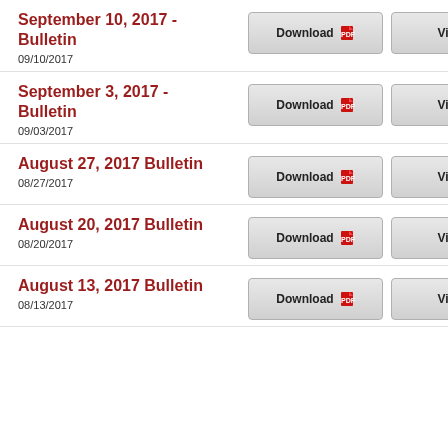September 10, 2017 - Bulletin
09/10/2017
September 3, 2017 - Bulletin
09/03/2017
August 27, 2017 Bulletin
08/27/2017
August 20, 2017 Bulletin
08/20/2017
August 13, 2017 Bulletin
08/13/2017